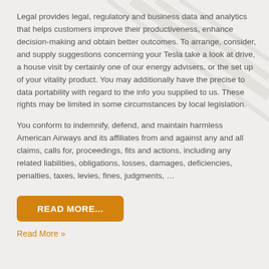Legal provides legal, regulatory and business data and analytics that helps customers improve their productiveness, enhance decision-making and obtain better outcomes. To arrange, consider, and supply suggestions concerning your Tesla take a look at drive, a house visit by certainly one of our energy advisers, or the set up of your vitality product. You may additionally have the precise to data portability with regard to the info you supplied to us. These rights may be limited in some circumstances by local legislation.
You conform to indemnify, defend, and maintain harmless American Airways and its affiliates from and against any and all claims, calls for, proceedings, fits and actions, including any related liabilities, obligations, losses, damages, deficiencies, penalties, taxes, levies, fines, judgments, …
READ MORE...
Read More »